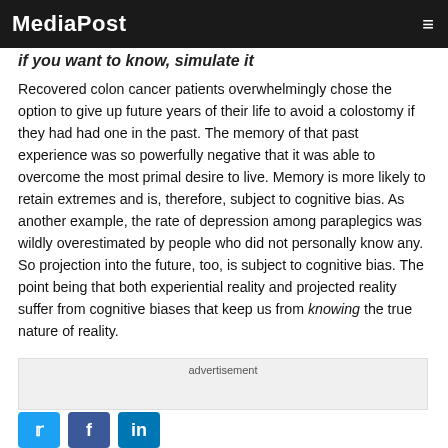MediaPost
if you want to know, simulate it
Recovered colon cancer patients overwhelmingly chose the option to give up future years of their life to avoid a colostomy if they had had one in the past. The memory of that past experience was so powerfully negative that it was able to overcome the most primal desire to live. Memory is more likely to retain extremes and is, therefore, subject to cognitive bias. As another example, the rate of depression among paraplegics was wildly overestimated by people who did not personally know any. So projection into the future, too, is subject to cognitive bias. The point being that both experiential reality and projected reality suffer from cognitive biases that keep us from knowing the true nature of reality.
advertisement